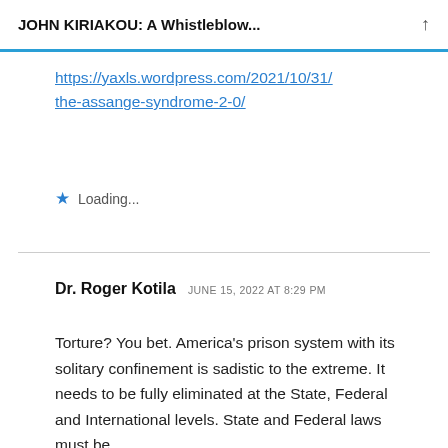JOHN KIRIAKOU: A Whistleblow...
https://yaxls.wordpress.com/2021/10/31/the-assange-syndrome-2-0/
Loading...
Dr. Roger Kotila  JUNE 15, 2022 AT 8:29 PM
Torture? You bet. America's prison system with its solitary confinement is sadistic to the extreme. It needs to be fully eliminated at the State, Federal and International levels. State and Federal laws must be